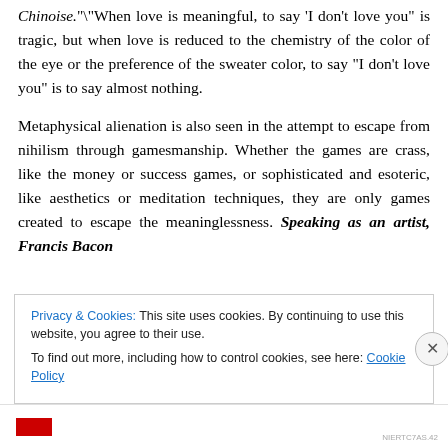Chinoise.""When love is meaningful, to say 'I don't love you' is tragic, but when love is reduced to the chemistry of the color of the eye or the preference of the sweater color, to say “I don’t love you” is to say almost nothing.
Metaphysical alienation is also seen in the attempt to escape from nihilism through gamesmanship. Whether the games are crass, like the money or success games, or sophisticated and esoteric, like aesthetics or meditation techniques, they are only games created to escape the meaninglessness. Speaking as an artist, Francis Bacon says that man now realizes that he is an accident, a...
Privacy & Cookies: This site uses cookies. By continuing to use this website, you agree to their use. To find out more, including how to control cookies, see here: Cookie Policy